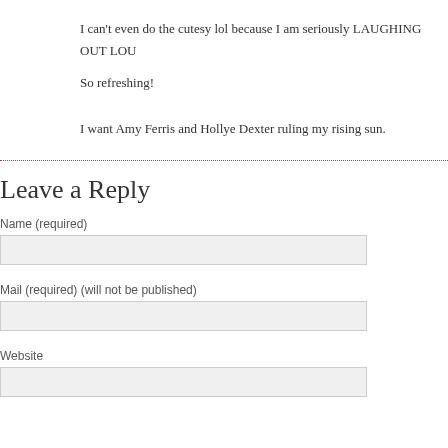I can't even do the cutesy lol because I am seriously LAUGHING OUT LOU
So refreshing!
I want Amy Ferris and Hollye Dexter ruling my rising sun.
Leave a Reply
Name (required)
Mail (required) (will not be published)
Website